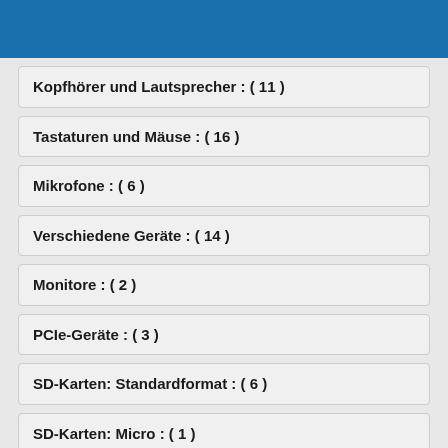Kopfhörer und Lautsprecher : ( 11 )
Tastaturen und Mäuse : ( 16 )
Mikrofone : ( 6 )
Verschiedene Geräte : ( 14 )
Monitore : ( 2 )
PCIe-Geräte : ( 3 )
SD-Karten: Standardformat : ( 6 )
SD-Karten: Micro : ( 1 )